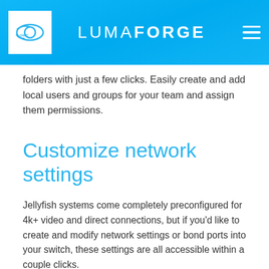LUMAFORGE
folders with just a few clicks. Easily create and add local users and groups for your team and assign them permissions.
Customize network settings
Jellyfish systems come completely preconfigured for 4k+ video and direct connections, but if you’d like to create and modify network settings or bond ports into your switch, these settings are all accessible within a couple clicks.